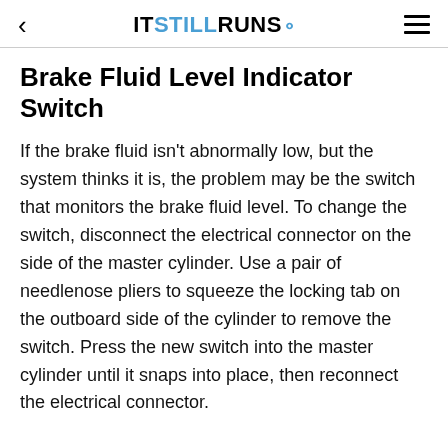ITSTILLRUNS.
Brake Fluid Level Indicator Switch
If the brake fluid isn't abnormally low, but the system thinks it is, the problem may be the switch that monitors the brake fluid level. To change the switch, disconnect the electrical connector on the side of the master cylinder. Use a pair of needlenose pliers to squeeze the locking tab on the outboard side of the cylinder to remove the switch. Press the new switch into the master cylinder until it snaps into place, then reconnect the electrical connector.